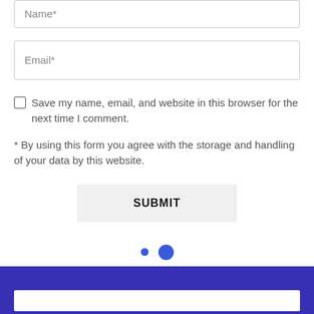Name*
Email*
Save my name, email, and website in this browser for the next time I comment.
* By using this form you agree with the storage and handling of your data by this website.
SUBMIT
[Figure (other): Two blue navigation dots, one small and one large]